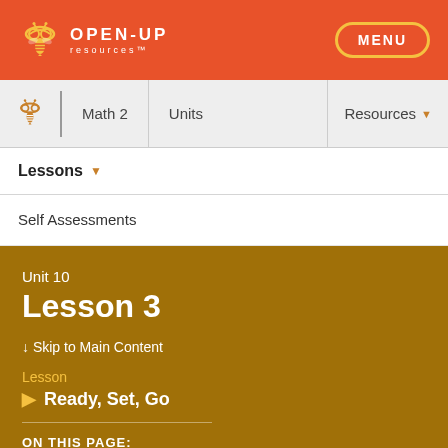[Figure (logo): Open Up Resources logo with bee icon and wordmark on orange header bar]
MENU
[Figure (logo): Open Up Resources bee icon in navigation bar]
Math 2
Units
Resources
Lessons
Self Assessments
Unit 10
Lesson 3
↓ Skip to Main Content
Lesson
Ready, Set, Go
ON THIS PAGE: